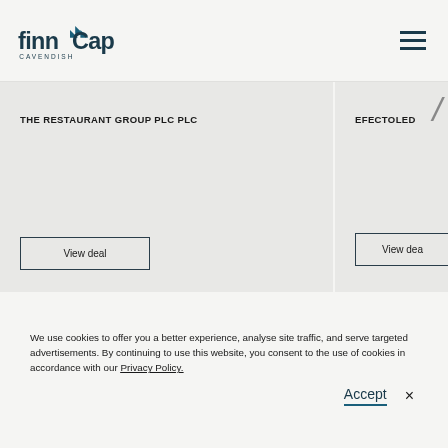[Figure (logo): finnCap Cavendish logo with teal arrow icon]
THE RESTAURANT GROUP PLC PLC
View deal
EFECTOLED
View deal
We use cookies to offer you a better experience, analyse site traffic, and serve targeted advertisements. By continuing to use this website, you consent to the use of cookies in accordance with our Privacy Policy.
Accept
×